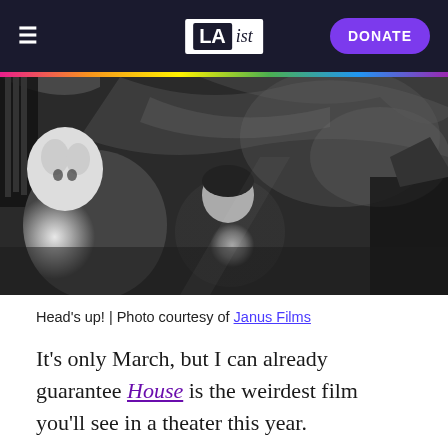LAist — DONATE
[Figure (photo): Black and white film still showing a person lying down and a fluffy white cat, with dramatic swirling background elements — from the film House (Hausu)]
Head's up! | Photo courtesy of Janus Films
It's only March, but I can already guarantee House is the weirdest film you'll see in a theater this year.